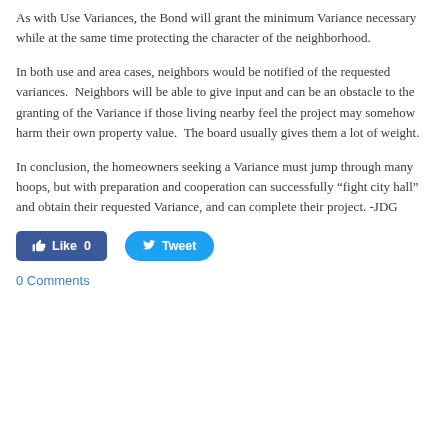As with Use Variances, the Bond will grant the minimum Variance necessary while at the same time protecting the character of the neighborhood.
In both use and area cases, neighbors would be notified of the requested variances.  Neighbors will be able to give input and can be an obstacle to the granting of the Variance if those living nearby feel the project may somehow harm their own property value.  The board usually gives them a lot of weight.
In conclusion, the homeowners seeking a Variance must jump through many hoops, but with preparation and cooperation can successfully “fight city hall” and obtain their requested Variance, and can complete their project. -JDG
[Figure (other): Social sharing buttons: Facebook Like (0) and Twitter Tweet]
0 Comments